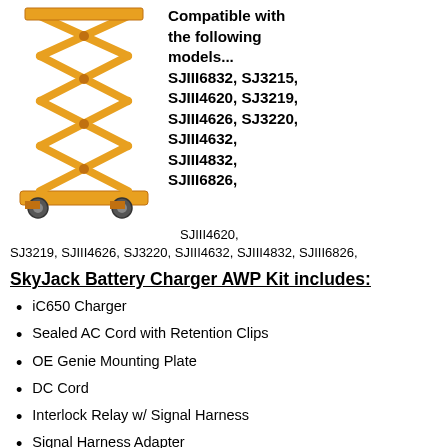[Figure (illustration): Orange scissor lift / aerial work platform illustration with yellow/orange scissor mechanism and wheeled base]
Compatible with the following models... SJIII6832, SJ3215, SJIII4620, SJ3219, SJIII4626, SJ3220, SJIII4632, SJIII4832, SJIII6826,
SJIII4620, SJ3219, SJIII4626, SJ3220, SJIII4632, SJIII4832, SJIII6826,
SkyJack Battery Charger AWP Kit includes:
iC650 Charger
Sealed AC Cord with Retention Clips
OE Genie Mounting Plate
DC Cord
Interlock Relay w/ Signal Harness
Signal Harness Adapter
Mounting Fastners
Installation Instructions
Owners Manual – General Use Instructions